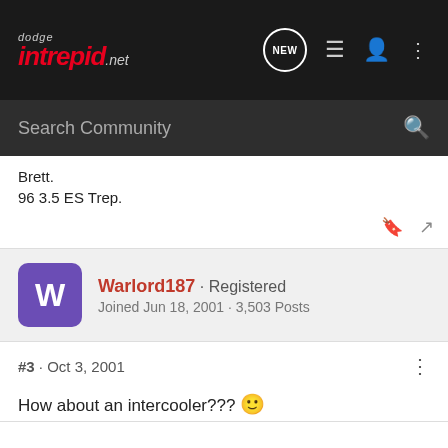dodge intrepid.net
Brett.
96 3.5 ES Trep.
Warlord187 · Registered
Joined Jun 18, 2001 · 3,503 Posts
#3 · Oct 3, 2001
How about an intercooler??? 🙂